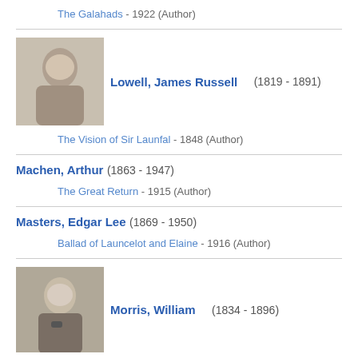The Galahads - 1922 (Author)
Lowell, James Russell (1819 - 1891)
The Vision of Sir Launfal - 1848 (Author)
Machen, Arthur (1863 - 1947)
The Great Return - 1915 (Author)
Masters, Edgar Lee (1869 - 1950)
Ballad of Launcelot and Elaine - 1916 (Author)
Morris, William (1834 - 1896)
The Chapel in Lyoness - September 1856 (Author)